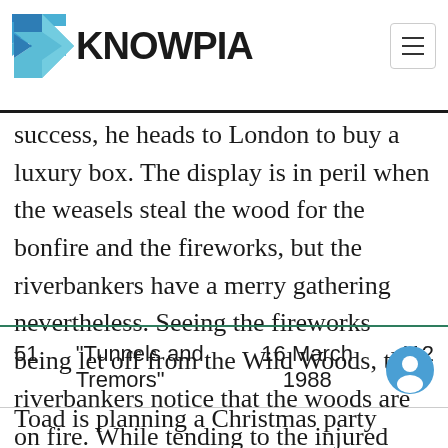[Figure (logo): Knowpia logo: blue angular K icon with KNOWPIA text in bold black]
success, he heads to London to buy a luxury box. The display is in peril when the weasels steal the wood for the bonfire and the fireworks, but the riverbankers have a merry gathering nevertheless. Seeing the fireworks being let off from the Wild Woods, the riverbankers notice that the woods are on fire. While tending to the injured weasels, Badger offers them asylum in Mr. Toad's outhouses. He makes an impassioned speech for unity in the face of the builders.
|  |  |  |  |
| --- | --- | --- | --- |
| 51 | "Tunnels and Tremors" | 16 March 1988 | 412 |
Toad is planning a Christmas party starring the great magician 'Il Mysterioso' (who looks an awful lot like